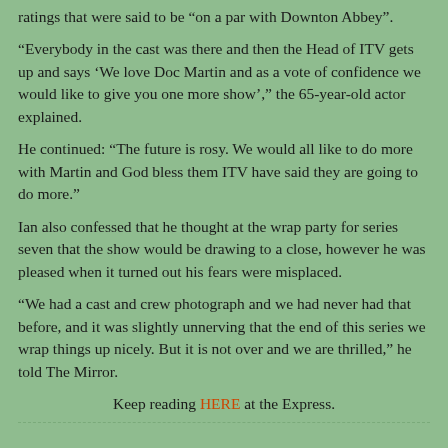ratings that were said to be “on a par with Downton Abbey”.
“Everybody in the cast was there and then the Head of ITV gets up and says ‘We love Doc Martin and as a vote of confidence we would like to give you one more show’,” the 65-year-old actor explained.
He continued: “The future is rosy. We would all like to do more with Martin and God bless them ITV have said they are going to do more.”
Ian also confessed that he thought at the wrap party for series seven that the show would be drawing to a close, however he was pleased when it turned out his fears were misplaced.
“We had a cast and crew photograph and we had never had that before, and it was slightly unnerving that the end of this series we wrap things up nicely. But it is not over and we are thrilled,” he told The Mirror.
Keep reading HERE at the Express.